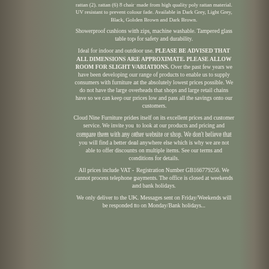rattan (2). rattan (6) 8 chair made from high quality poly rattan material. UV resistant to prevent colour fade. Available in Dark Grey, Light Grey, Black, Golden Brown and Dark Brown.
Showerproof cushions with zips, machine washable. Tampered glass table top for safety and durability.
Ideal for indoor and outdoor use. PLEASE BE ADVISED THAT ALL DIMENSIONS ARE APPROXIMATE. PLEASE ALLOW ROOM FOR SLIGHT VARIATIONS. Over the past few years we have been developing our range of products to enable us to supply consumers with furniture at the absolutely lowest prices possible. We do not have the large overheads that shops and large retail chains have so we can keep our prices low and pass all the savings onto our customers.
Cloud Nine Furniture prides itself on its excellent prices and customer service. We invite you to look at our products and pricing and compare them with any other website or shop. We don't believe that you will find a better deal anywhere else which is why we are not able to offer discounts on multiple items. See our terms and conditions for details.
All prices include VAT - Registration Number GB166779256. We cannot process telephone payments. The office is closed at weekends and bank holidays.
We only deliver to the UK. Messages sent on Friday/Weekends will be responded to on Monday/Bank holidays...